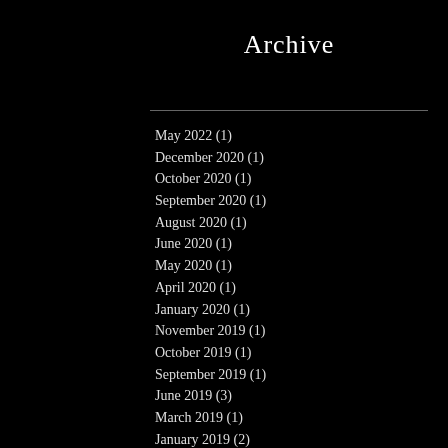Archive
May 2022 (1)
December 2020 (1)
October 2020 (1)
September 2020 (1)
August 2020 (1)
June 2020 (1)
May 2020 (1)
April 2020 (1)
January 2020 (1)
November 2019 (1)
October 2019 (1)
September 2019 (1)
June 2019 (3)
March 2019 (1)
January 2019 (2)
December 2018 (2)
November 2018 (1)
September 2018 (1)